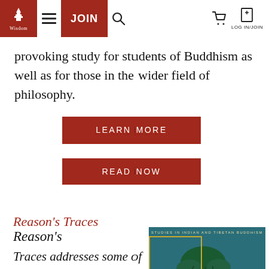Wisdom | JOIN | LOG IN/JOIN
provoking study for students of Buddhism as well as for those in the wider field of philosophy.
LEARN MORE
READ NOW
Reason's Traces
Reason's Traces addresses some of